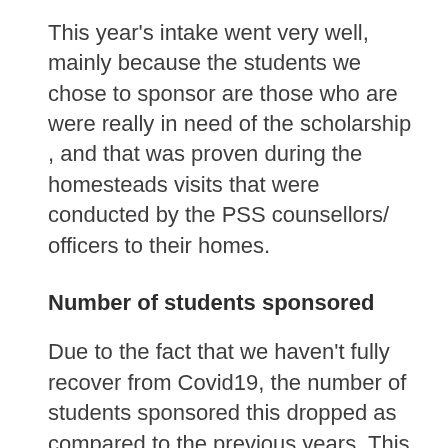This year's intake went very well, mainly because the students we chose to sponsor are those who are were really in need of the scholarship , and that was proven during the homesteads visits that were conducted by the PSS counsellors/ officers to their homes.
Number of students sponsored
Due to the fact that we haven't fully recover from Covid19, the number of students sponsored this dropped as compared to the previous years. This year Meya sponsored 116 students from